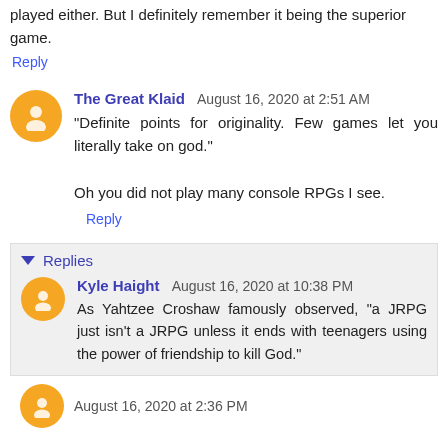played either. But I definitely remember it being the superior game.
Reply
The Great Klaid August 16, 2020 at 2:51 AM
"Definite points for originality. Few games let you literally take on god."

Oh you did not play many console RPGs I see.
Reply
Replies
Kyle Haight August 16, 2020 at 10:38 PM
As Yahtzee Croshaw famously observed, "a JRPG just isn't a JRPG unless it ends with teenagers using the power of friendship to kill God."